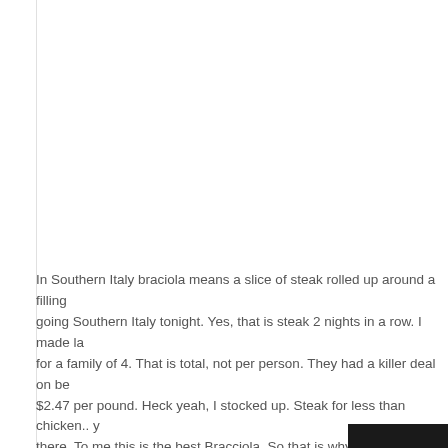In Southern Italy braciola means a slice of steak rolled up around a filling going Southern Italy tonight. Yes, that is steak 2 nights in a row. I made l... for a family of 4. That is total, not per person. They had a killer deal on b... $2.47 per pound. Heck yeah, I stocked up. Steak for less than chicken.. y... there. To me this is the best Bracciola. So that is why I call it:
Bracciola Christi Style
Take and butterfly your steaks (cut it through the thickness, across the gr...